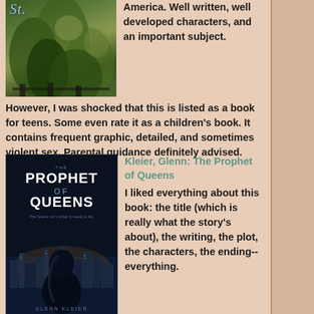[Figure (illustration): Book cover with green/dark foliage or plant design, script title partially visible at top]
America. Well written, well developed characters, and an important subject. However, I was shocked that this is listed as a book for teens. Some even rate it as a children's book. It contains frequent graphic, detailed, and sometimes violent sex. Parental guidance definitely advised. (***)
[Figure (illustration): Book cover for 'The Prophet of Queens' by Glenn Kleier — dark blue/black cover with silhouette of hooded figure against a city skyline at night]
Kleier, Glenn: The Prophet of Queens
I liked everything about this book: the title (which is really what the story's about), the writing, the plot, the characters, the ending--everything. I've been Facebook friends with Glenn Kleier for a while without realizing he's an excellent novelist. When he told me he thought I would like this book, I groaned